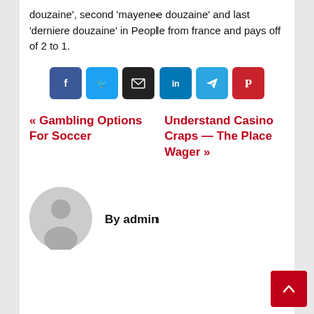douzaine', second 'mayenee douzaine' and last 'derniere douzaine' in People from france and pays off of 2 to 1.
[Figure (infographic): Six social share buttons: Facebook (blue), Twitter (light blue), Email (dark/black), LinkedIn (blue), Telegram (light blue), Pinterest (red)]
« Gambling Options For Soccer
Understand Casino Craps — The Place Wager »
By admin
[Figure (illustration): Generic grey avatar/profile icon showing a person silhouette in a circle]